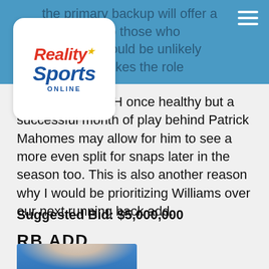the primary backup will offer a [similar role] to those who [CEH] would be unlikely [if someone] takes the role outright from CEH once healthy
[Figure (logo): Reality Sports Online logo — white rounded rectangle with red italic 'Reality', blue italic 'Sports', and blue 'ONLINE' text]
outright from CEH once healthy but a successful month of play behind Patrick Mahomes may allow for him to see a more even split for snaps later in the season too. This is also another reason why I would be prioritizing Williams over our next running back add.
Suggested Bid: $5,000,000
RB ADD
[Figure (photo): Partial photo of a football player wearing a blue helmet, cropped at bottom of page]